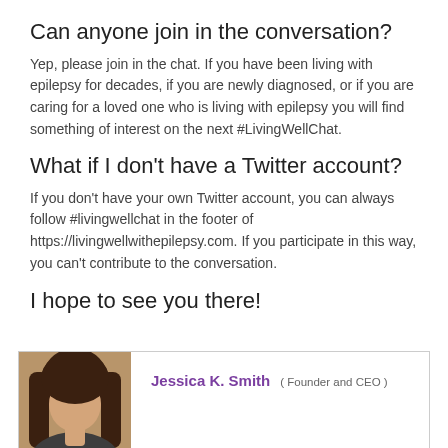Can anyone join in the conversation?
Yep, please join in the chat. If you have been living with epilepsy for decades, if you are newly diagnosed, or if you are caring for a loved one who is living with epilepsy you will find something of interest on the next #LivingWellChat.
What if I don't have a Twitter account?
If you don't have your own Twitter account, you can always follow #livingwellchat in the footer of https://livingwellwithepilepsy.com. If you participate in this way, you can't contribute to the conversation.
I hope to see you there!
[Figure (photo): Author photo and bio box: photo of a woman with dark hair, name Jessica K. Smith, title Founder and CEO]
Jessica K. Smith ( Founder and CEO )